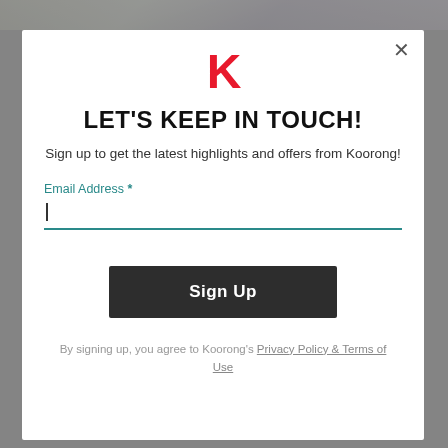[Figure (screenshot): Blurred top background strip behind modal]
[Figure (logo): Koorong red K logo mark]
LET'S KEEP IN TOUCH!
Sign up to get the latest highlights and offers from Koorong!
Email Address *
Sign Up
By signing up, you agree to Koorong's Privacy Policy & Terms of Use